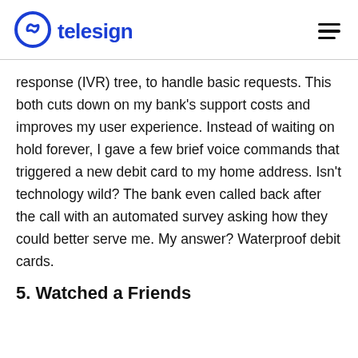telesign
response (IVR) tree, to handle basic requests. This both cuts down on my bank's support costs and improves my user experience. Instead of waiting on hold forever, I gave a few brief voice commands that triggered a new debit card to my home address. Isn't technology wild? The bank even called back after the call with an automated survey asking how they could better serve me. My answer? Waterproof debit cards.
5. Watched a Friends